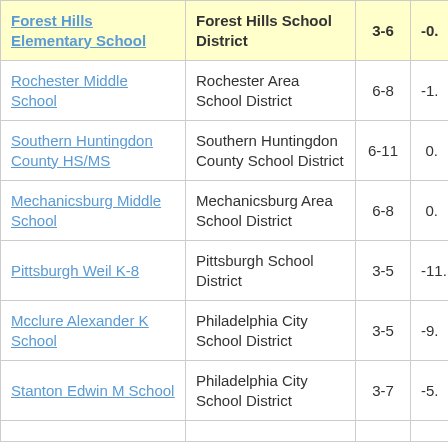| School | District | Grades | Score |
| --- | --- | --- | --- |
| Forest Hills Elementary School | Forest Hills School District | 3-6 | -0. |
| Rochester Middle School | Rochester Area School District | 6-8 | -1. |
| Southern Huntingdon County HS/MS | Southern Huntingdon County School District | 6-11 | 0. |
| Mechanicsburg Middle School | Mechanicsburg Area School District | 6-8 | 0. |
| Pittsburgh Weil K-8 | Pittsburgh School District | 3-5 | -11. |
| Mcclure Alexander K School | Philadelphia City School District | 3-5 | -9. |
| Stanton Edwin M School | Philadelphia City School District | 3-7 | -5. |